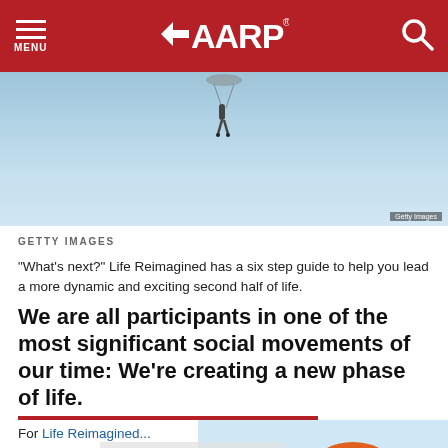MENU | AARP | Search
[Figure (photo): Person parasailing in a blue sky, viewed from below]
GETTY IMAGES
"What's next?" Life Reimagined has a six step guide to help you lead a more dynamic and exciting second half of life.
We are all participants in one of the most significant social movements of our time: We're creating a new phase of life.
For... Life Reimagined ... observers — ... company ... In...
[Figure (photo): Smiling woman wearing orange hat and sunglasses at the beach, with a ShopIt Now overlay advertisement]